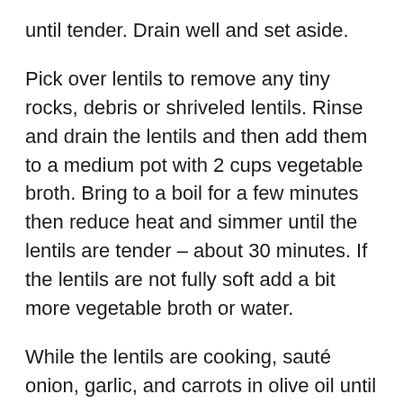until tender. Drain well and set aside.
Pick over lentils to remove any tiny rocks, debris or shriveled lentils. Rinse and drain the lentils and then add them to a medium pot with 2 cups vegetable broth. Bring to a boil for a few minutes then reduce heat and simmer until the lentils are tender – about 30 minutes. If the lentils are not fully soft add a bit more vegetable broth or water.
While the lentils are cooking, sauté onion, garlic, and carrots in olive oil until the onions are translucent and the carrots start to become tender, about 10 minutes. Remove from heat then stir in green peas, thyme, salt and pepper. When lentils are done cooking, stir them into this mixture.
Preheat oven to 350°F. Ma...